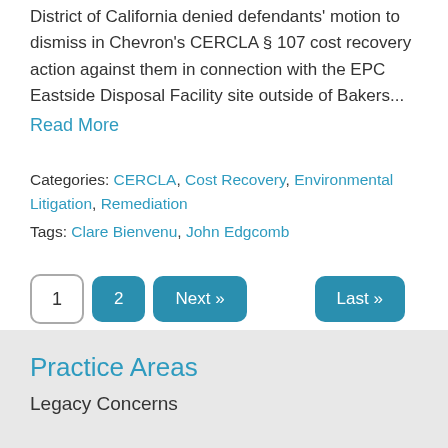District of California denied defendants' motion to dismiss in Chevron's CERCLA § 107 cost recovery action against them in connection with the EPC Eastside Disposal Facility site outside of Bakers...
Read More
Categories: CERCLA, Cost Recovery, Environmental Litigation, Remediation
Tags: Clare Bienvenu, John Edgcomb
1  2  Next »  Last »
Practice Areas
Legacy Concerns